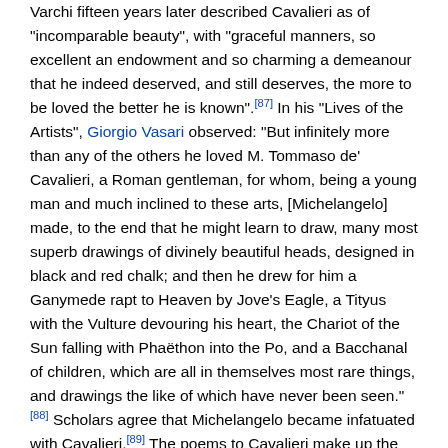Varchi fifteen years later described Cavalieri as of "incomparable beauty", with "graceful manners, so excellent an endowment and so charming a demeanour that he indeed deserved, and still deserves, the more to be loved the better he is known".[87] In his "Lives of the Artists", Giorgio Vasari observed: "But infinitely more than any of the others he loved M. Tommaso de' Cavalieri, a Roman gentleman, for whom, being a young man and much inclined to these arts, [Michelangelo] made, to the end that he might learn to draw, many most superb drawings of divinely beautiful heads, designed in black and red chalk; and then he drew for him a Ganymede rapt to Heaven by Jove's Eagle, a Tityus with the Vulture devouring his heart, the Chariot of the Sun falling with Phaëthon into the Po, and a Bacchanal of children, which are all in themselves most rare things, and drawings the like of which have never been seen."[88] Scholars agree that Michelangelo became infatuated with Cavalieri.[89] The poems to Cavalieri make up the first large sequence of poems in any modern tongue addressed by one man to another; they predate by 50 years Shakespeare's sonnets to the fair youth;